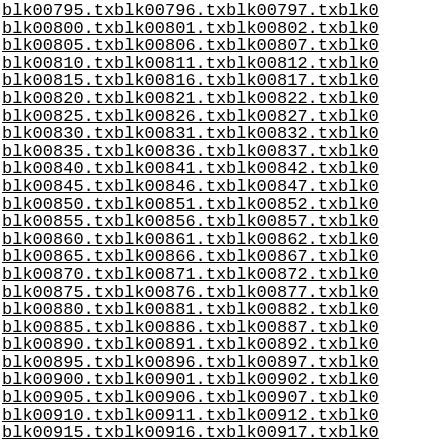blk00795.txt blk00796.txt blk00797.txt blk0... blk00800.txt blk00801.txt blk00802.txt blk0... (continues through blk00917.txt)